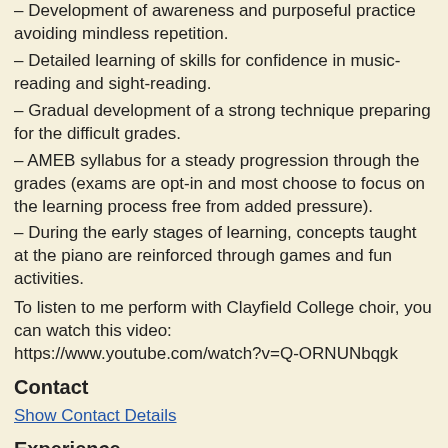– Development of awareness and purposeful practice avoiding mindless repetition.
– Detailed learning of skills for confidence in music-reading and sight-reading.
– Gradual development of a strong technique preparing for the difficult grades.
– AMEB syllabus for a steady progression through the grades (exams are opt-in and most choose to focus on the learning process free from added pressure).
– During the early stages of learning, concepts taught at the piano are reinforced through games and fun activities.
To listen to me perform with Clayfield College choir, you can watch this video:
https://www.youtube.com/watch?v=Q-ORNUNbqgk
Contact
Show Contact Details
Experience
Piano teacher, music schools, Clayfield College piano teacher.
Qualifications